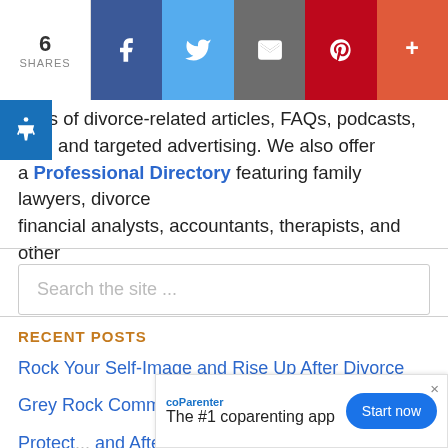[Figure (other): Social share bar with count 6 SHARES and buttons for Facebook, Twitter, Email, Pinterest, More]
...ages of divorce-related articles, FAQs, podcasts, eos, and targeted advertising. We also offer a Professional Directory featuring family lawyers, divorce financial analysts, accountants, therapists, and other divorce-related services.
[Figure (other): Search the site ... input field]
RECENT POSTS
Rock Your Self-Image and Rise Up After Divorce
Grey Rock Communication and the Narcissist
Protect... and After D...
[Figure (infographic): coParenter ad banner: The #1 coparenting app with Start now button]